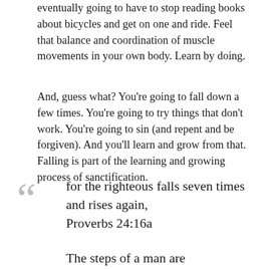eventually going to have to stop reading books about bicycles and get on one and ride. Feel that balance and coordination of muscle movements in your own body. Learn by doing.
And, guess what? You're going to fall down a few times. You're going to try things that don't work. You're going to sin (and repent and be forgiven). And you'll learn and grow from that. Falling is part of the learning and growing process of sanctification.
for the righteous falls seven times and rises again, Proverbs 24:16a
The steps of a man are